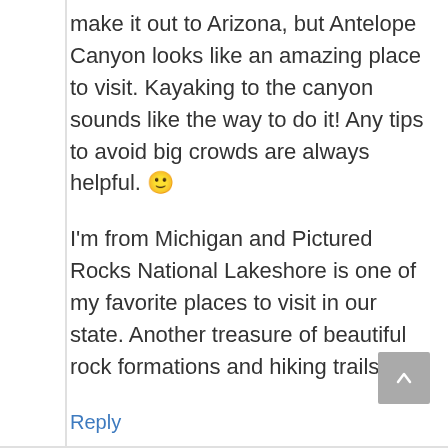make it out to Arizona, but Antelope Canyon looks like an amazing place to visit. Kayaking to the canyon sounds like the way to do it! Any tips to avoid big crowds are always helpful. 🙂
I'm from Michigan and Pictured Rocks National Lakeshore is one of my favorite places to visit in our state. Another treasure of beautiful rock formations and hiking trails.
Reply